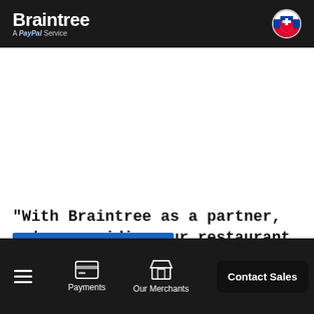Braintree A PayPal Service
“With Braintree as a partner, we’re providing our restaurant customers with state-of-the-art security.”
- Elizabeth Casey, senior director of product management
Payments | Our Merchants | Contact Sales